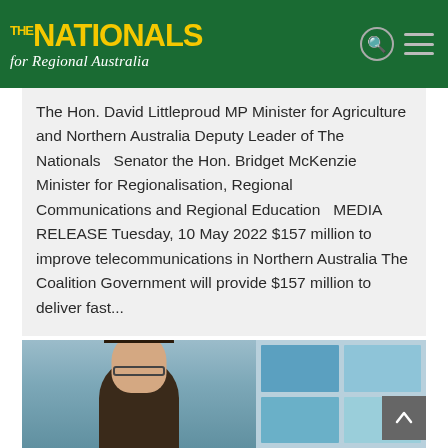THE NATIONALS for Regional Australia
The Hon. David Littleproud MP Minister for Agriculture and Northern Australia Deputy Leader of The Nationals   Senator the Hon. Bridget McKenzie Minister for Regionalisation, Regional Communications and Regional Education   MEDIA RELEASE Tuesday, 10 May 2022 $157 million to improve telecommunications in Northern Australia The Coalition Government will provide $157 million to deliver fast...
[Figure (photo): Photo of a person with dark curly hair, with window/glass background behind them]